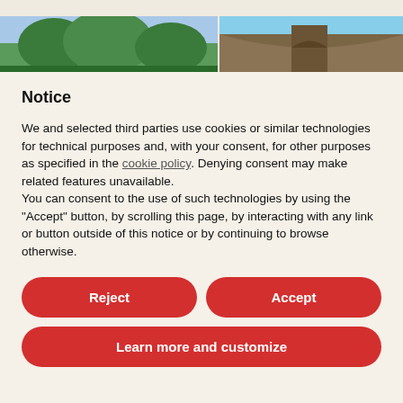[Figure (photo): Two partial photos: left shows trees with sky background; right shows a brick arch structure.]
Notice
We and selected third parties use cookies or similar technologies for technical purposes and, with your consent, for other purposes as specified in the cookie policy. Denying consent may make related features unavailable.
You can consent to the use of such technologies by using the “Accept” button, by scrolling this page, by interacting with any link or button outside of this notice or by continuing to browse otherwise.
Reject
Accept
Learn more and customize